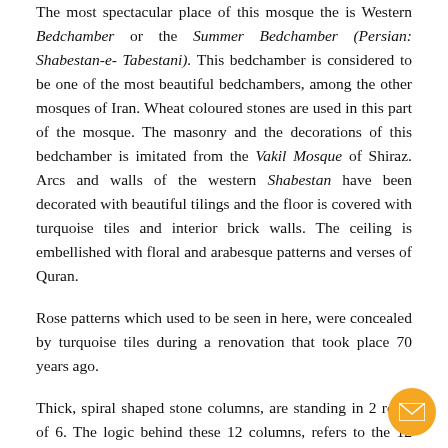The most spectacular place of this mosque the is Western Bedchamber or the Summer Bedchamber (Persian: Shabestan-e- Tabestani). This bedchamber is considered to be one of the most beautiful bedchambers, among the other mosques of Iran. Wheat coloured stones are used in this part of the mosque. The masonry and the decorations of this bedchamber is imitated from the Vakil Mosque of Shiraz. Arcs and walls of the western Shabestan have been decorated with beautiful tilings and the floor is covered with turquoise tiles and interior brick walls. The ceiling is embellished with floral and arabesque patterns and verses of Quran.
Rose patterns which used to be seen in here, were concealed by turquoise tiles during a renovation that took place 70 years ago.
Thick, spiral shaped stone columns, are standing in 2 rows of 6. The logic behind these 12 columns, refers to the 12 Shia Imams. At the back of this bedchamber, there's an altar. Floor of the altar is covered with marble stone and is built above and from the floor of the Shabestan itself.